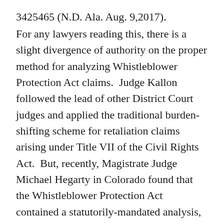3425465 (N.D. Ala. Aug. 9, 2017).
For any lawyers reading this, there is a slight divergence of authority on the proper method for analyzing Whistleblower Protection Act claims.  Judge Kallon followed the lead of other District Court judges and applied the traditional burden-shifting scheme for retaliation claims arising under Title VII of the Civil Rights Act.  But, recently, Magistrate Judge Michael Hegarty in Colorado found that the Whistleblower Protection Act contained a statutorily-mandated analysis, which he summarized as follows:
[An employee] will succeed on his claim for retaliation in violation of 10 U.S.C. §2409 if he demonstrates (1) he engaged in protected activity as described in the statute, (2) the [employer's] decision maker knew he engaged in protected activity, and (3) his protected activity was a contributing factor in the